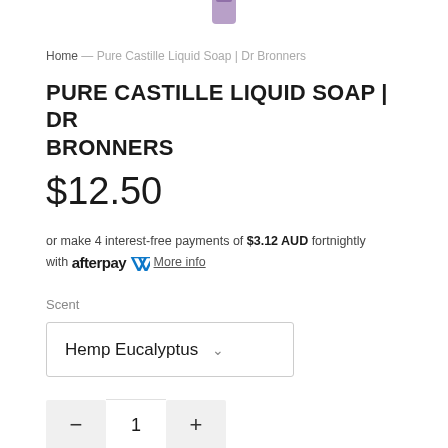[Figure (photo): Partial product image of Dr Bronners soap bottle at top of page]
Home — Pure Castille Liquid Soap | Dr Bronners
PURE CASTILLE LIQUID SOAP | DR BRONNERS
$12.50
or make 4 interest-free payments of $3.12 AUD fortnightly with afterpay More info
Scent
Hemp Eucalyptus
1